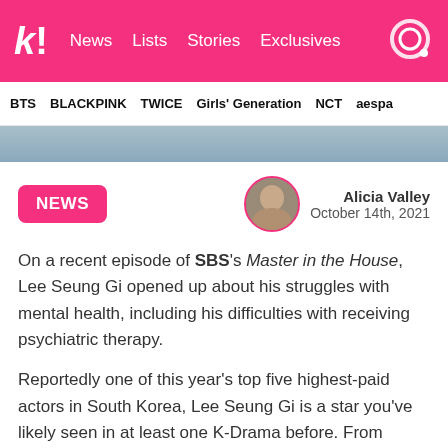k! News  Lists  Stories  Exclusives
BTS  BLACKPINK  TWICE  Girls' Generation  NCT  aespa
[Figure (photo): Hero image strip showing blurred figures]
NEWS
Alicia Valley
October 14th, 2021
On a recent episode of SBS's Master in the House, Lee Seung Gi opened up about his struggles with mental health, including his difficulties with receiving psychiatric therapy.
Reportedly one of this year's top five highest-paid actors in South Korea, Lee Seung Gi is a star you've likely seen in at least one K-Drama before. From SBS's Vagabond and My Girlfriend is a Gumiho to his most recent role in tvN's